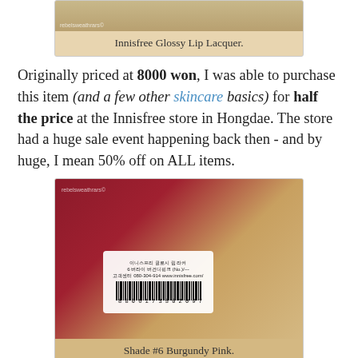[Figure (photo): Top portion of a photo of the Innisfree Glossy Lip Lacquer product with a watermark, partially cropped at top.]
Innisfree Glossy Lip Lacquer.
Originally priced at 8000 won, I was able to purchase this item (and a few other skincare basics) for half the price at the Innisfree store in Hongdae. The store had a huge sale event happening back then - and by huge, I mean 50% off on ALL items.
[Figure (photo): Close-up photo of the Innisfree Glossy Lip Lacquer in Shade #6 Burgundy Pink, showing the barcode label with Korean text and barcode number 8806173502097.]
Shade #6 Burgundy Pink.
The Innisfree Glossy Lip Lacquer comes in a very simple packaging - just this transparent plastic tube with a white cap. If you're fussy when it comes to product packaging and